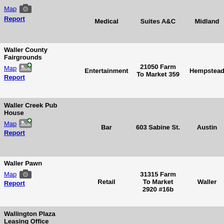| Name/Links | Type | Address | City | Info |
| --- | --- | --- | --- | --- |
| (Medical) [Map] [Report] | Medical | Suites A&C | Midland | 30.07 Si |
| Waller County Fairgrounds [Map] [Report] | Entertainment | 21050 Farm To Market 359 | Hempstead | 30.07 Si |
| Waller Creek Pub House [Map] [Report] | Bar | 603 Sabine St. | Austin | 51% Si |
| Waller Pawn [Map] [Report] | Retail | 31315 Farm To Market 2920 #16b | Waller | 30.07 Si |
| Wallington Plaza Leasing Office [Map] [Report] | Office | 200 Wallington Dr | El Paso | 30.06 a 30.07 Si |
| Wallis State Bank [Map] [Report] | Financial | 2425 West Loop South | Houston | 30.07 Si |